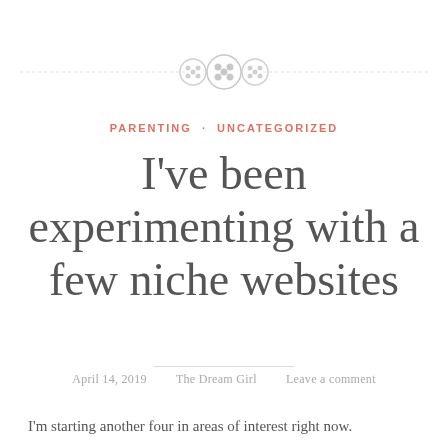[Figure (illustration): Decorative divider with three button icons (two smaller ones flanking a larger one) centered on a dashed horizontal line]
PARENTING · UNCATEGORIZED
I've been experimenting with a few niche websites
April 14, 2019    The Dream Girl    Leave a comment
I'm starting another four in areas of interest right now.